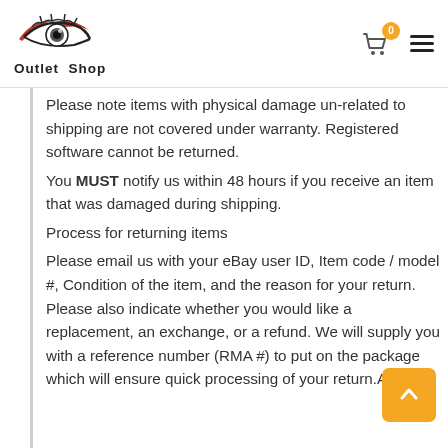Outlet Shop
Please note items with physical damage unrelated to shipping are not covered under warranty. Registered software cannot be returned. You MUST notify us within 48 hours if you receive an item that was damaged during shipping. Process for returning items Please email us with your eBay user ID, Item code / model #, Condition of the item, and the reason for your return. Please also indicate whether you would like a replacement, an exchange, or a refund. We will supply you with a reference number (RMA #) to put on the package which will ensure quick processing of your return.All